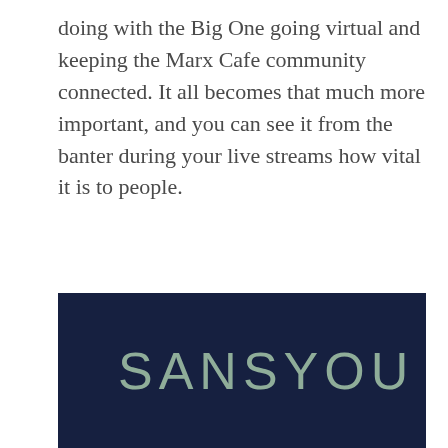doing with the Big One going virtual and keeping the Marx Cafe community connected. It all becomes that much more important, and you can see it from the banter during your live streams how vital it is to people.
[Figure (logo): Dark navy blue rectangular image with the text 'SANSYOU' written in a thin, light sage/mint colored sans-serif font]